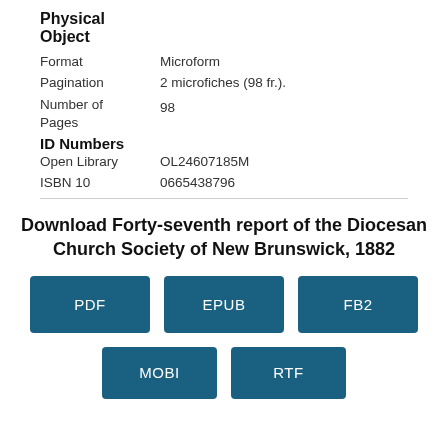Physical Object
Format: Microform
Pagination: 2 microfiches (98 fr.).
Number of Pages: 98
ID Numbers
Open Library: OL24607185M
ISBN 10: 0665438796
Download Forty-seventh report of the Diocesan Church Society of New Brunswick, 1882
PDF EPUB FB2 MOBI RTF